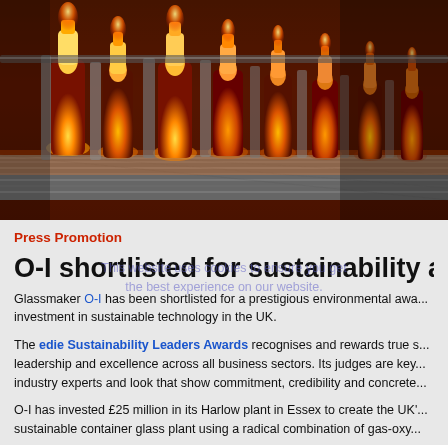[Figure (photo): Hot glowing orange glass bottles on a manufacturing conveyor line in a glass factory, with machinery forming bottles under intense heat]
Press Promotion
O-I shortlisted for sustainability awa...
Glassmaker O-I has been shortlisted for a prestigious environmental awa... investment in sustainable technology in the UK.
The edie Sustainability Leaders Awards recognises and rewards true s... leadership and excellence across all business sectors. Its judges are key... industry experts and look that show commitment, credibility and concrete...
O-I has invested £25 million in its Harlow plant in Essex to create the UK'... sustainable container glass plant using a radical combination of gas-oxy...